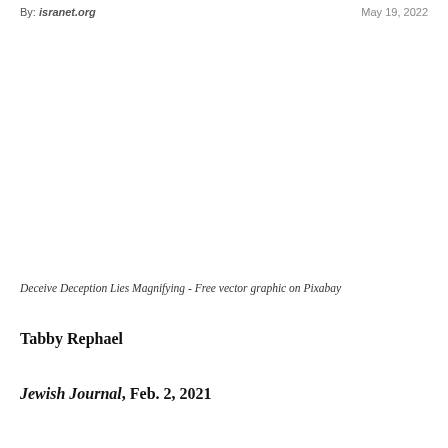By: isranet.org
May 19, 2022
Deceive Deception Lies Magnifying - Free vector graphic on Pixabay
Tabby Rephael
Jewish Journal, Feb. 2, 2021